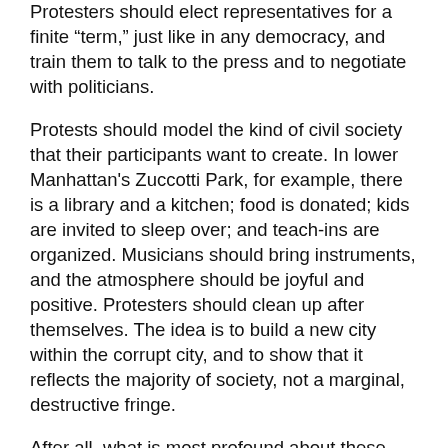Protesters should elect representatives for a finite "term," just like in any democracy, and train them to talk to the press and to negotiate with politicians.
Protests should model the kind of civil society that their participants want to create. In lower Manhattan's Zuccotti Park, for example, there is a library and a kitchen; food is donated; kids are invited to sleep over; and teach-ins are organized. Musicians should bring instruments, and the atmosphere should be joyful and positive. Protesters should clean up after themselves. The idea is to build a new city within the corrupt city, and to show that it reflects the majority of society, not a marginal, destructive fringe.
After all, what is most profound about these protest movements is not their demands, but rather the nascent infrastructure of a common humanity. For decades, citizens have been told to keep their heads down -- whether in a consumerist fantasy world or in poverty and drudgery -- and leave